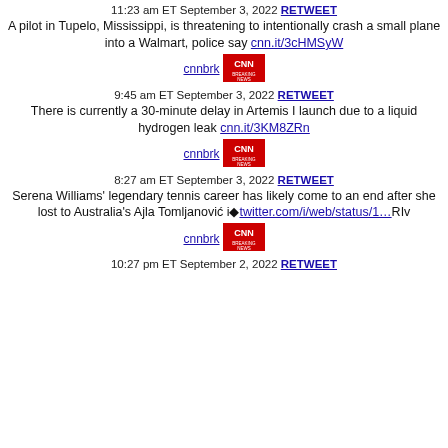11:23 am ET September 3, 2022 RETWEET
A pilot in Tupelo, Mississippi, is threatening to intentionally crash a small plane into a Walmart, police say cnn.it/3cHMSyW
cnnbrk [CNN Breaking News logo]
9:45 am ET September 3, 2022 RETWEET
There is currently a 30-minute delay in Artemis I launch due to a liquid hydrogen leak cnn.it/3KM8ZRn
cnnbrk [CNN Breaking News logo]
8:27 am ET September 3, 2022 RETWEET
Serena Williams' legendary tennis career has likely come to an end after she lost to Australia's Ajla Tomljanović i◆twitter.com/i/web/status/1…RIv
cnnbrk [CNN Breaking News logo]
10:27 pm ET September 2, 2022 RETWEET